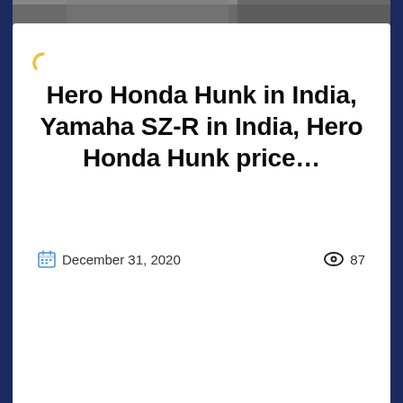[Figure (photo): Top image bar showing a partial photograph, likely of motorcycles or vehicles, cropped at the top of the card]
Hero Honda Hunk in India, Yamaha SZ-R in India, Hero Honda Hunk price…
December 31, 2020   87